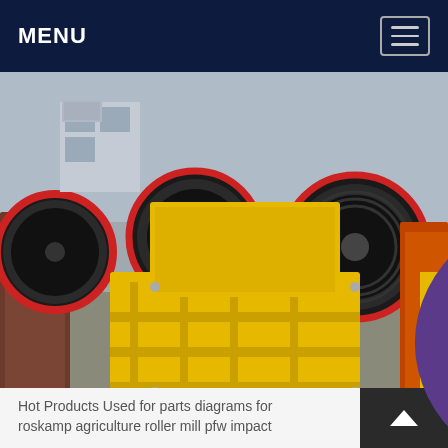MENU
[Figure (photo): Industrial jaw crusher machines with large black and red flywheels on yellow frames, staged outdoors in a factory yard. Multiple units visible, with orange equipment in background.]
roller mills diagram
Hot Products Used for parts diagrams for roskamp agriculture roller mill pfw impact